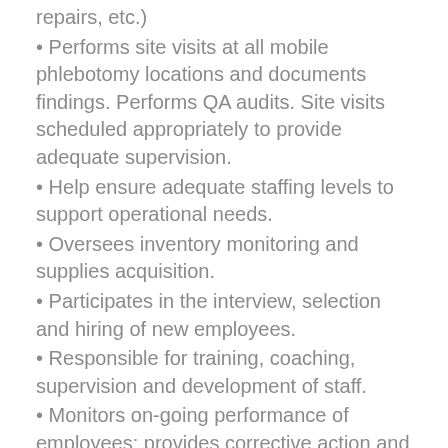repairs, etc.)
Performs site visits at all mobile phlebotomy locations and documents findings. Performs QA audits. Site visits scheduled appropriately to provide adequate supervision.
Help ensure adequate staffing levels to support operational needs.
Oversees inventory monitoring and supplies acquisition.
Participates in the interview, selection and hiring of new employees.
Responsible for training, coaching, supervision and development of staff.
Monitors on-going performance of employees; provides corrective action and counseling as required. Performs mid-year and annual skills and competency evaluations.
Holds regularly scheduled meetings with field